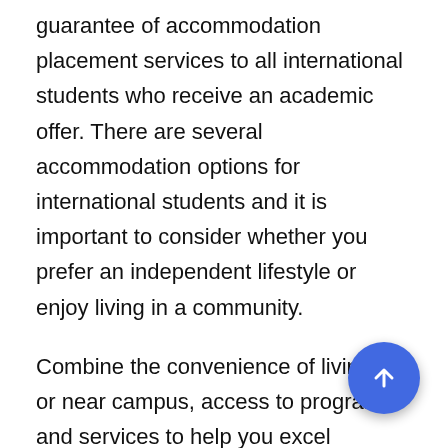guarantee of accommodation placement services to all international students who receive an academic offer. There are several accommodation options for international students and it is important to consider whether you prefer an independent lifestyle or enjoy living in a community.
Combine the convenience of living on or near campus, access to programs and services to help you excel academically, the opportunity to build lasting friendships, and comfortable, affordable living and you have the life of a University. The territory of the University and the main students' routes from the hostels to the educational buildings are protected and patrolled by officers of guard service.